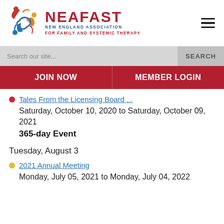[Figure (logo): NEAFAST logo with colorful swirling figures and text: NEAFAST NEW ENGLAND ASSOCIATION FOR FAMILY AND SYSTEMIC THERAPY]
Search our site...
SEARCH
JOIN NOW
MEMBER LOGIN
Tales From the Licensing Board ...
Saturday, October 10, 2020 to Saturday, October 09, 2021
365-day Event
Tuesday, August 3
2021 Annual Meeting
Monday, July 05, 2021 to Monday, July 04, 2022